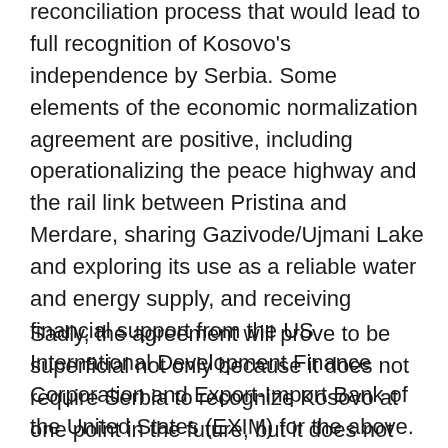reconciliation process that would lead to full recognition of Kosovo's independence by Serbia. Some elements of the economic normalization agreement are positive, including operationalizing the peace highway and the rail link between Pristina and Merdare, sharing Gazivode/Ujmani Lake and exploring its use as a reliable water and energy supply, and receiving financial support from the US International Development Finance Corporation and Export-Import Bank of the United States (EXIM) for the above. These and other projects will create job opportunities for several thousand Kosovars and alleviate some of the economic hardship in the country.
Sadly, the agreement will prove to be superficial not only because it does not require Serbia to recognize Kosovo at one point in the future, but it does not even commit Serbia to renounce, once and for all, its